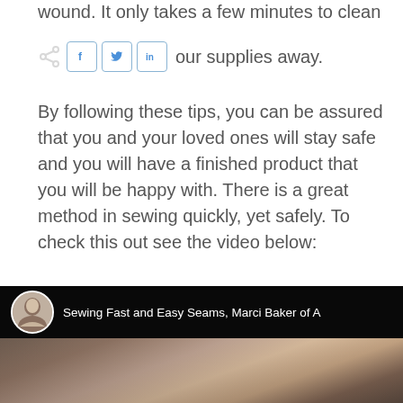wound. It only takes a few minutes to clean up and put your supplies away.
[Figure (screenshot): Social media share buttons: Facebook (f), Twitter (bird), LinkedIn (in) icons in bordered squares]
By following these tips, you can be assured that you and your loved ones will stay safe and you will have a finished product that you will be happy with. There is a great method in sewing quickly, yet safely. To check this out see the video below:
[Figure (screenshot): Video thumbnail for 'Sewing Fast and Easy Seams, Marci Baker of A...' showing a woman's profile photo and hands working with fabric on a sewing surface]